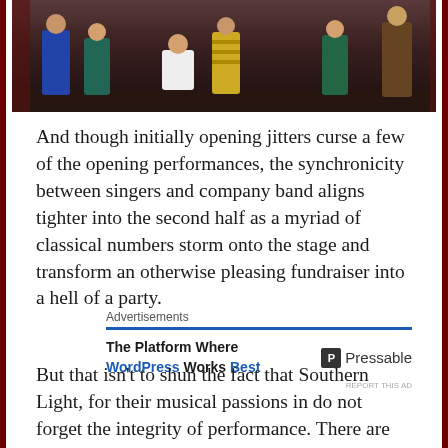[Figure (photo): Performers on stage in colorful costumes, theatrical production scene]
And though initially opening jitters curse a few of the opening performances, the synchronicity between singers and company band aligns tighter into the second half as a myriad of classical numbers storm onto the stage and transform an otherwise pleasing fundraiser into a hell of a party.
Advertisements
The Platform Where WordPress Works Best   Pressable
REPORT THIS AD
But that isn't to shun the fact that Southern Light, for their musical passions in do not forget the integrity of performance. There are challenging moments where the sincerity pierces through the joviality, particularly from